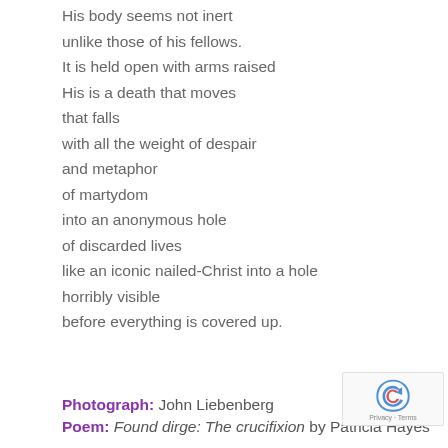His body seems not inert
unlike those of his fellows.
It is held open with arms raised
His is a death that moves
that falls
with all the weight of despair
and metaphor
of martydom
into an anonymous hole
of discarded lives
like an iconic nailed-Christ into a hole
horribly visible
before everything is covered up.
Photograph: John Liebenberg
Poem: Found dirge: The crucifixion by Patricia Hayes